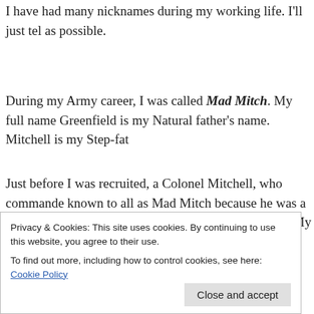I have had many nicknames during my working life. I'll just tel as possible.
During my Army career, I was called Mad Mitch. My full name Greenfield is my Natural father's name. Mitchell is my Step-fat
Just before I was recruited, a Colonel Mitchell, who commande known to all as Mad Mitch because he was a little bit crazy, reti Member of the British Parliament. My colleagues stuck his labe crazy.
When I worked at Ingres in the early to mid nineties, I was Tigg loved this, and I am very pleased that a few people still hang thi
Privacy & Cookies: This site uses cookies. By continuing to use this website, you agree to their use. To find out more, including how to control cookies, see here: Cookie Policy